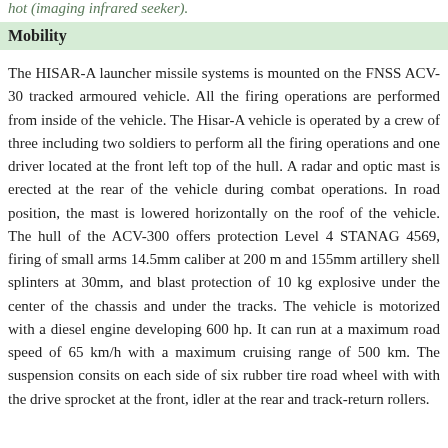hot (imaging infrared seeker).
Mobility
The HISAR-A launcher missile systems is mounted on the FNSS ACV-30 tracked armoured vehicle. All the firing operations are performed from inside of the vehicle. The Hisar-A vehicle is operated by a crew of three including two soldiers to perform all the firing operations and one driver located at the front left top of the hull. A radar and optic mast is erected at the rear of the vehicle during combat operations. In road position, the mast is lowered horizontally on the roof of the vehicle. The hull of the ACV-300 offers protection Level 4 STANAG 4569, firing of small arms 14.5mm caliber at 200 m and 155mm artillery shell splinters at 30mm, and blast protection of 10 kg explosive under the center of the chassis and under the tracks. The vehicle is motorized with a diesel engine developing 600 hp. It can run at a maximum road speed of 65 km/h with a maximum cruising range of 500 km. The suspension consits on each side of six rubber tire road wheel with with the drive sprocket at the front, idler at the rear and track-return rollers.